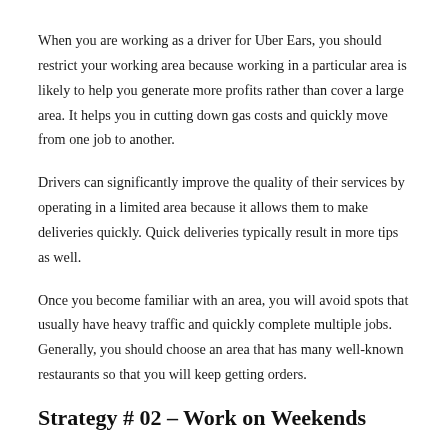When you are working as a driver for Uber Ears, you should restrict your working area because working in a particular area is likely to help you generate more profits rather than cover a large area. It helps you in cutting down gas costs and quickly move from one job to another.
Drivers can significantly improve the quality of their services by operating in a limited area because it allows them to make deliveries quickly. Quick deliveries typically result in more tips as well.
Once you become familiar with an area, you will avoid spots that usually have heavy traffic and quickly complete multiple jobs. Generally, you should choose an area that has many well-known restaurants so that you will keep getting orders.
Strategy # 02 – Work on Weekends